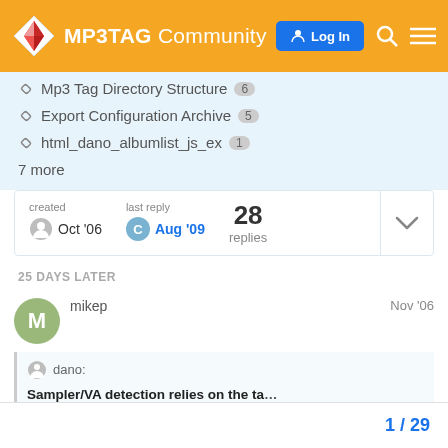MP3TAG Community — Log In
Mp3 Tag Directory Structure 6
Export Configuration Archive 5
html_dano_albumlist_js_ex 1
7 more
| created | last reply | replies |
| --- | --- | --- |
| Oct '06 | Aug '09 | 28 |
25 DAYS LATER
mikep   Nov '06
dano: Sampler/VA detection relies on the tag %ARTIST%. If you use a different tag, yo…